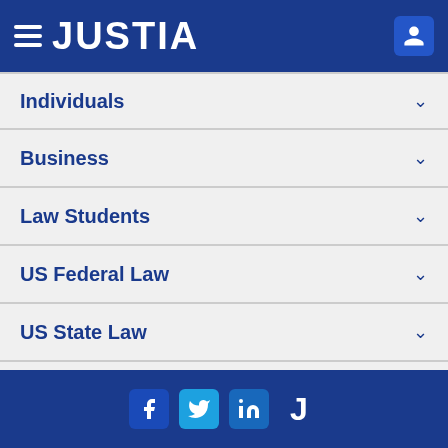JUSTIA
Individuals
Business
Law Students
US Federal Law
US State Law
Other Databases
Marketing Solutions
Social media icons: Facebook, Twitter, LinkedIn, Justia